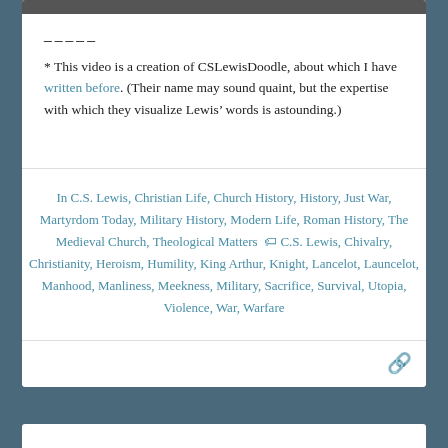─────
* This video is a creation of CSLewisDoodle, about which I have written before. (Their name may sound quaint, but the expertise with which they visualize Lewis' words is astounding.)
In C.S. Lewis, Christian Life, Church History, History, Just War, Martyrdom Today, Military History, Modern Life, Roman History, The Medieval Church, Theological Matters  🏷 C.S. Lewis, Chivalry, Christianity, Heroism, Humility, King Arthur, Knight, Lancelot, Launcelot, Manhood, Manliness, Meekness, Military, Sacrifice, Survival, Utopia, Violence, War, Warfare